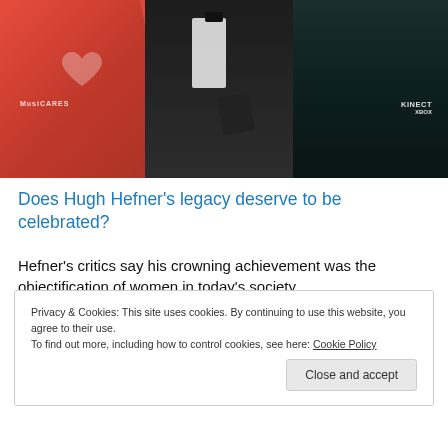[Figure (photo): Photo of three people at a MusiCares/Kinect Xbox event. A woman in red dress on the left, a man in a black tuxedo with bow tie in the center, and a woman in a dark strapless dress on the right. Red background with event logos visible.]
Does Hugh Hefner’s legacy deserve to be celebrated?
Hefner’s critics say his crowning achievement was the objectification of women in today’s society.
Privacy & Cookies: This site uses cookies. By continuing to use this website, you agree to their use.
To find out more, including how to control cookies, see here: Cookie Policy